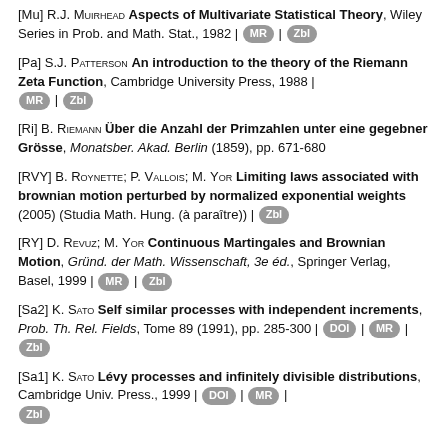[Mu] R.J. Muirhead Aspects of Multivariate Statistical Theory, Wiley Series in Prob. and Math. Stat., 1982 | MR | Zbl
[Pa] S.J. Patterson An introduction to the theory of the Riemann Zeta Function, Cambridge University Press, 1988 | MR | Zbl
[Ri] B. Riemann Über die Anzahl der Primzahlen unter eine gegebner Grösse, Monatsber. Akad. Berlin (1859), pp. 671-680
[RVY] B. Roynette; P. Vallois; M. Yor Limiting laws associated with brownian motion perturbed by normalized exponential weights (2005) (Studia Math. Hung. (à paraître)) | Zbl
[RY] D. Revuz; M. Yor Continuous Martingales and Brownian Motion, Gründ. der Math. Wissenschaft, 3e éd., Springer Verlag, Basel, 1999 | MR | Zbl
[Sa2] K. Sato Self similar processes with independent increments, Prob. Th. Rel. Fields, Tome 89 (1991), pp. 285-300 | DOI | MR | Zbl
[Sa1] K. Sato Lévy processes and infinitely divisible distributions, Cambridge Univ. Press., 1999 | DOI | MR | Zbl